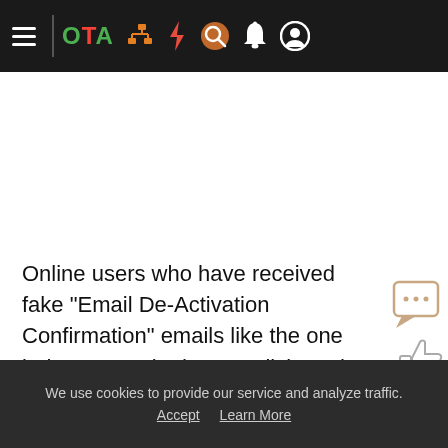OTA navigation bar with menu, logo, and icons
Online users who have received fake "Email De-Activation Confirmation" emails like the one below, are asked not to click on the links in them. They should delete the email instead. This is because the emails are being sent by cybercriminals who want to trick recipients into visiting
We use cookies to provide our service and analyze traffic. Accept  Learn More